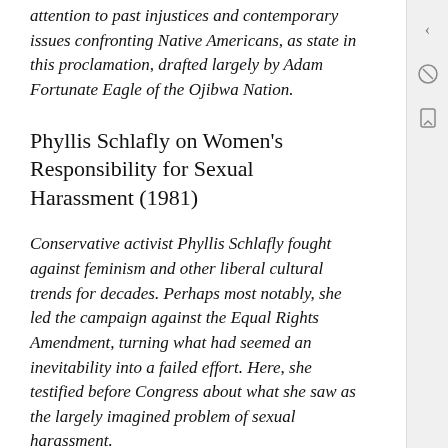attention to past injustices and contemporary issues confronting Native Americans, as state in this proclamation, drafted largely by Adam Fortunate Eagle of the Ojibwa Nation.
Phyllis Schlafly on Women's Responsibility for Sexual Harassment (1981)
Conservative activist Phyllis Schlafly fought against feminism and other liberal cultural trends for decades. Perhaps most notably, she led the campaign against the Equal Rights Amendment, turning what had seemed an inevitability into a failed effort. Here, she testified before Congress about what she saw as the largely imagined problem of sexual harassment.
[partial text cut off at bottom]